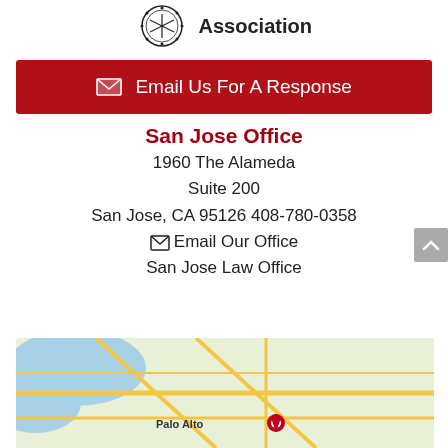[Figure (logo): Association logo with circular emblem and text 'Association']
Email Us For A Response
San Jose Office
1960 The Alameda
Suite 200
San Jose, CA 95126 408-780-0358
✉ Email Our Office
San Jose Law Office
[Figure (map): Google map showing Palo Alto area with red location pin marker]